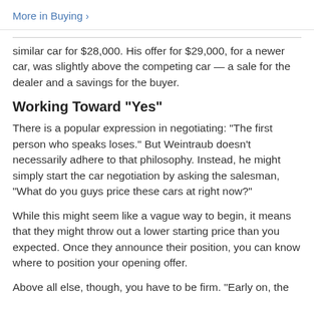More in Buying >
similar car for $28,000. His offer for $29,000, for a newer car, was slightly above the competing car — a sale for the dealer and a savings for the buyer.
Working Toward "Yes"
There is a popular expression in negotiating: "The first person who speaks loses." But Weintraub doesn't necessarily adhere to that philosophy. Instead, he might simply start the car negotiation by asking the salesman, "What do you guys price these cars at right now?"
While this might seem like a vague way to begin, it means that they might throw out a lower starting price than you expected. Once they announce their position, you can know where to position your opening offer.
Above all else, though, you have to be firm. "Early on, the